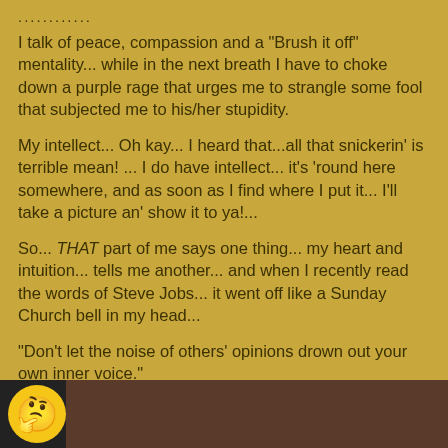............
I talk of peace, compassion and a "Brush it off" mentality... while in the next breath I have to choke down a purple rage that urges me to strangle some fool that subjected me to his/her stupidity.
My intellect... Oh kay... I heard that...all that snickerin' is terrible mean! ... I do have intellect... it's 'round here somewhere, and as soon as I find where I put it... I'll take a picture an' show it to ya!...
So... THAT part of me says one thing... my heart and intuition... tells me another... and when I recently read the words of Steve Jobs... it went off like a Sunday Church bell in my head...
"Don't let the noise of others' opinions drown out your own inner voice."
[Figure (photo): Bottom strip showing a yellow smiley/surprised emoji face on dark background]